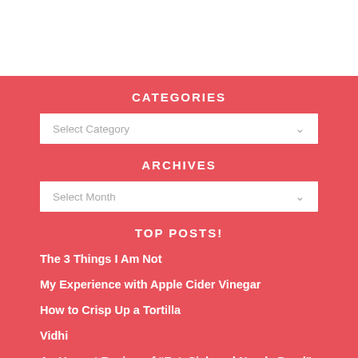CATEGORIES
[Figure (screenshot): Dropdown select box labeled 'Select Category' with a chevron arrow on the right]
ARCHIVES
[Figure (screenshot): Dropdown select box labeled 'Select Month' with a chevron arrow on the right]
TOP POSTS!
The 3 Things I Am Not
My Experience with Apple Cider Vinegar
How to Crisp Up a Tortilla
Vidhi
An Honest Review of “Fat, Sick and Nearly Dead”
Acne Update: Jojoba Oil + Tea Tree Oil